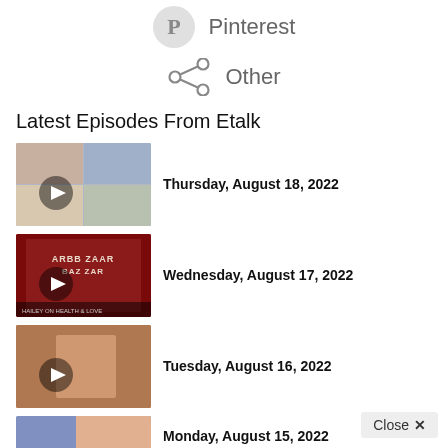[Figure (screenshot): Share icon row with Pinterest logo and label]
[Figure (screenshot): Share icon row with generic share icon and 'Other' label]
Latest Episodes From Etalk
[Figure (screenshot): Video thumbnail showing group of people with play button overlay]
Thursday, August 18, 2022
[Figure (screenshot): Video thumbnail showing Harper's Bazaar magazine cover with play button overlay]
Wednesday, August 17, 2022
[Figure (screenshot): Video thumbnail showing two people in a corridor with play button overlay]
Tuesday, August 16, 2022
[Figure (screenshot): Partial video thumbnail (bottom of page)]
Monday, August 15, 2022
Close ×